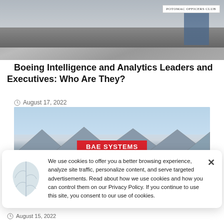[Figure (photo): Top portion of a building exterior, partially cut off, with a Potomac Officers Club badge in the top right corner]
Boeing Intelligence and Analytics Leaders and Executives: Who Are They?
August 17, 2022
[Figure (photo): BAE Systems building exterior with triangular metal roof panels and a red BAE SYSTEMS sign]
We use cookies to offer you a better browsing experience, analyze site traffic, personalize content, and serve targeted advertisements. Read about how we use cookies and how you can control them on our Privacy Policy. If you continue to use this site, you consent to our use of cookies.
August 15, 2022